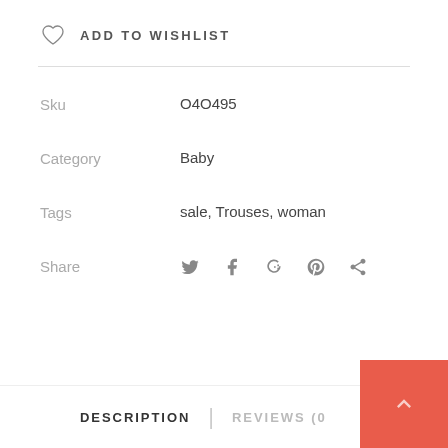ADD TO WISHLIST
| Sku | O4O495 |
| Category | Baby |
| Tags | sale, Trouses, woman |
| Share |  |
DESCRIPTION | REVIEWS (0